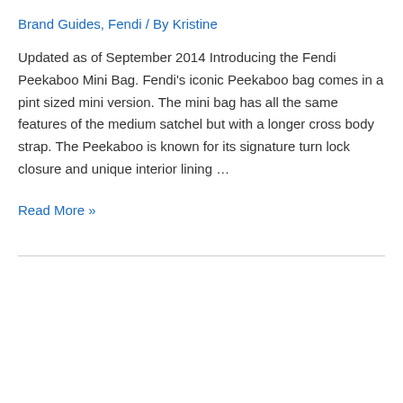Brand Guides, Fendi / By Kristine
Updated as of September 2014 Introducing the Fendi Peekaboo Mini Bag. Fendi's iconic Peekaboo bag comes in a pint sized mini version. The mini bag has all the same features of the medium satchel but with a longer cross body strap. The Peekaboo is known for its signature turn lock closure and unique interior lining …
Read More »